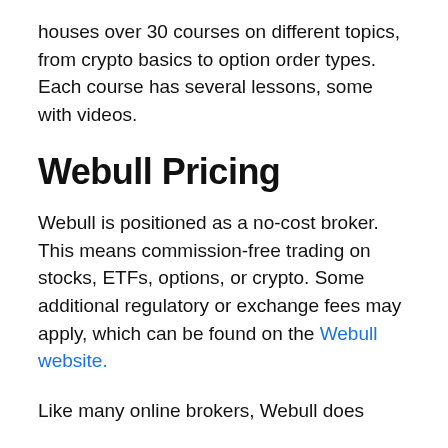houses over 30 courses on different topics, from crypto basics to option order types. Each course has several lessons, some with videos.
Webull Pricing
Webull is positioned as a no-cost broker. This means commission-free trading on stocks, ETFs, options, or crypto. Some additional regulatory or exchange fees may apply, which can be found on the Webull website.
Like many online brokers, Webull does